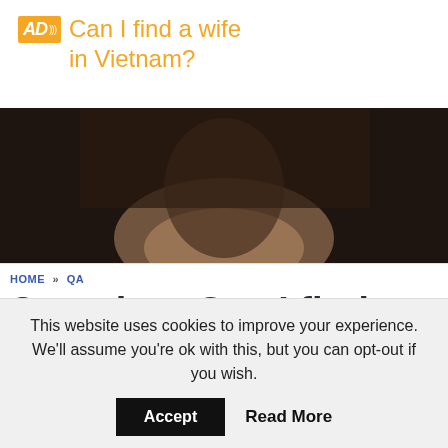AD Can I find a wife in Vietnam?
[Figure (photo): Dark blurred photo of a person wearing a dark jacket, close-up of neck/chin area]
HOME » QA
Question: Can I find a wife in Vietnam?
This website uses cookies to improve your experience. We'll assume you're ok with this, but you can opt-out if you wish.
Accept   Read More